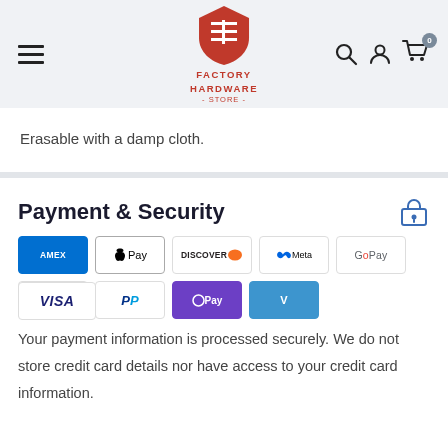[Figure (logo): Factory Hardware Store logo with red shield and hamburger menu, search, account, and cart icons in header navigation]
Erasable with a damp cloth.
Payment & Security
[Figure (infographic): Payment method icons: American Express, Apple Pay, Discover, Meta Pay, Google Pay, Mastercard, PayPal, OPay, Venmo, Visa]
Your payment information is processed securely. We do not store credit card details nor have access to your credit card information.